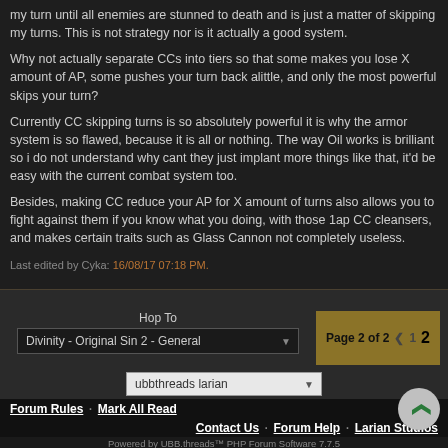my turn until all enemies are stunned to death and is just a matter of skipping my turns. This is not strategy nor is it actually a good system.

Why not actually separate CCs into tiers so that some makes you lose X amount of AP, some pushes your turn back alittle, and only the most powerful skips your turn?

Currently CC skipping turns is so absolutely powerful it is why the armor system is so flawed, because it is all or nothing. The way Oil works is brilliant so i do not understand why cant they just implant more things like that, it'd be easy with the current combat system too.

Besides, making CC reduce your AP for X amount of turns also allows you to fight against them if you know what you doing, with those 1ap CC cleansers, and makes certain traits such as Glass Cannon not completely useless.
Last edited by Cyka: 16/08/17 07:18 PM.
Hop To
Divinity - Original Sin 2 - General
Page 2 of 2  < 1  2
ubbthreads larian
Forum Rules · Mark All Read
Contact Us · Forum Help · Larian Studios
Powered by UBB.threads™ PHP Forum Software 7.7.5